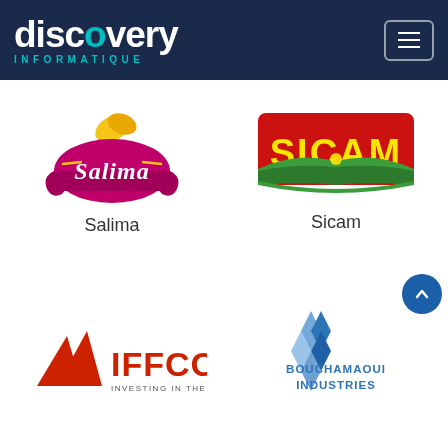[Figure (logo): Discovery Informatique company logo - white text on dark navy background with teal accent arrows and menu hamburger button]
[Figure (logo): Salima brand logo - pink/magenta ribbon with white script text 'Salima' and yellow decorative element on top]
Salima
[Figure (logo): SICAM logo - red rectangular background with bold yellow 'SICAM' text and green landscape/fields graphic at bottom]
Sicam
[Figure (logo): IFFCO logo - two red triangular mountain/tent shapes with 'IFFCO' bold text and 'INVESTING IN THE FUTURE' tagline]
[Figure (logo): Bouchamaoui Industries logo - blue geometric building/crystal shape with 'BOUCHAMAOUI INDUSTRIES' text in blue]